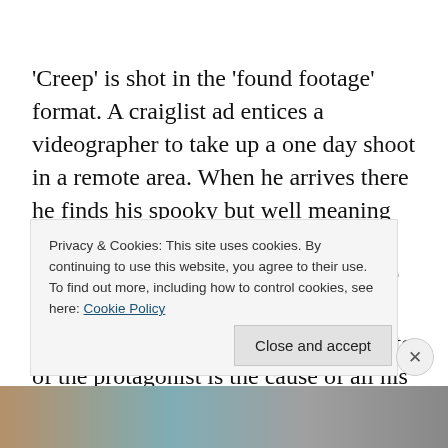'Creep' is shot in the 'found footage' format. A craiglist ad entices a videographer to take up a one day shoot in a remote area. When he arrives there he finds his spooky but well meaning guest. The videographer's sympathies soon turn into pure angst and fear. For once, he does not realize what he has signed up for. In some ways the naivete of the protagonist is the cause of all his perils. I wondered more than once on the improbability of the plot
Privacy & Cookies: This site uses cookies. By continuing to use this website, you agree to their use. To find out more, including how to control cookies, see here: Cookie Policy
Close and accept